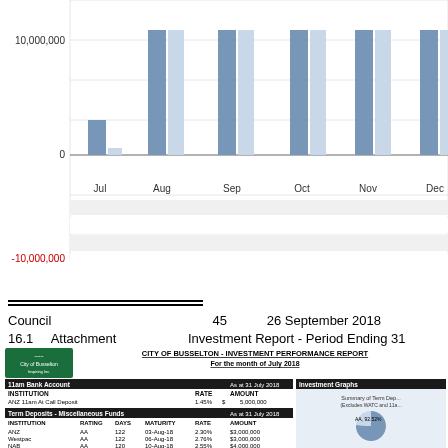[Figure (bar-chart): Partial bar chart showing monthly investment values Jul-Dec with values around 10,000,000 and negative values around -10,000,000]
Council
16.1    Attachment C
45    26 September 2018
Investment Report - Period Ending 31 July 2018
[Figure (table-as-image): City of Busselton Investment Performance Report for the month of July 2018, showing 11am Bank Account and Term Deposits - Miscellaneous Funds tables with institution, rating, days, maturity, rate and amount columns, plus a partial pie chart showing Summary of Term Deposits (Excludes WATC and 11am), AA 92.52%]